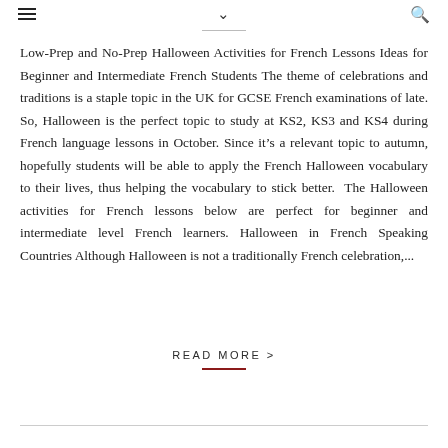≡ ∨ 🔍
Low-Prep and No-Prep Halloween Activities for French Lessons Ideas for Beginner and Intermediate French Students The theme of celebrations and traditions is a staple topic in the UK for GCSE French examinations of late. So, Halloween is the perfect topic to study at KS2, KS3 and KS4 during French language lessons in October. Since it's a relevant topic to autumn, hopefully students will be able to apply the French Halloween vocabulary to their lives, thus helping the vocabulary to stick better.  The Halloween activities for French lessons below are perfect for beginner and intermediate level French learners. Halloween in French Speaking Countries Although Halloween is not a traditionally French celebration,...
READ MORE >